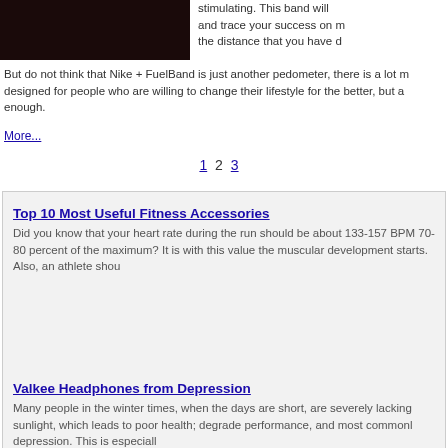[Figure (photo): Dark image showing a fitness device or accessory, top-left corner]
stimulating. This band will and trace your success on m the distance that you have d
But do not think that Nike + FuelBand is just another pedometer, there is a lot m designed for people who are willing to change their lifestyle for the better, but a enough.
More...
1 2 3
Top 10 Most Useful Fitness Accessories
Did you know that your heart rate during the run should be about 133-157 BPM 70-80 percent of the maximum? It is with this value the muscular development starts. Also, an athlete shou
Valkee Headphones from Depression
Many people in the winter times, when the days are short, are severely lacking sunlight, which leads to poor health; degrade performance, and most commonl depression. This is especiall